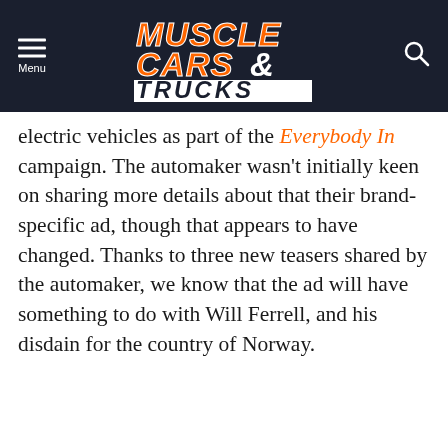[Figure (logo): Muscle Cars & Trucks website header logo with navigation menu icon and search icon on dark navy background]
electric vehicles as part of the Everybody In campaign. The automaker wasn't initially keen on sharing more details about that their brand-specific ad, though that appears to have changed. Thanks to three new teasers shared by the automaker, we know that the ad will have something to do with Will Ferrell, and his disdain for the country of Norway.